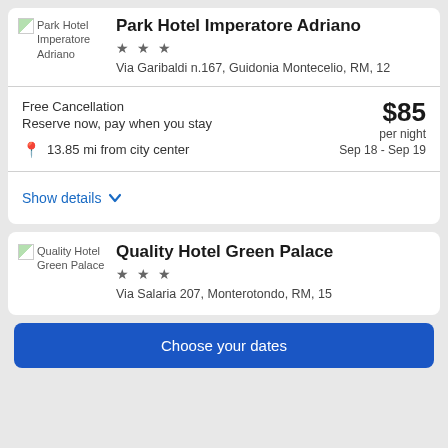[Figure (screenshot): Screenshot of a hotel booking app listing page showing Park Hotel Imperatore Adriano and Quality Hotel Green Palace]
Park Hotel Imperatore Adriano
★★★
Via Garibaldi n.167, Guidonia Montecelio, RM, 12
Free Cancellation
Reserve now, pay when you stay
$85 per night
Sep 18 - Sep 19
13.85 mi from city center
Show details
Quality Hotel Green Palace
★★★
Via Salaria 207, Monterotondo, RM, 15
Choose your dates